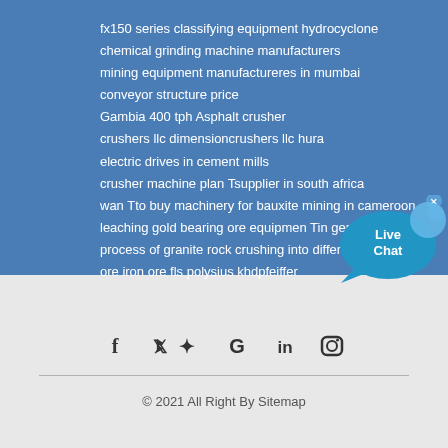fx150 series classifying equipment hydrocyclone
chemical grinding machine manufacturers
mining equipment manufactureres in mumbai
conveyor structure price
Gambia 400 tph Asphalt crusher
crushers llc dimensioncrushers llc hura
electric drives in cement mills
crusher machine plan Tsupplier in south africa
wan Tto buy machinery for bauxite mining in cameroon
leaching gold bearing ore equipmen Tin germany
process of granite rock crushing into differen Tsize
ore iron ore fls polysius khdpfeiffer
[Figure (illustration): Live Chat bubble widget with blue speech bubble graphic and text 'Live Chat', with a close (x) button]
[Figure (infographic): Social media icons row: Facebook (f), Twitter (bird), Google (G), LinkedIn (in), Instagram (camera)]
© 2021 All Right By Sitemap